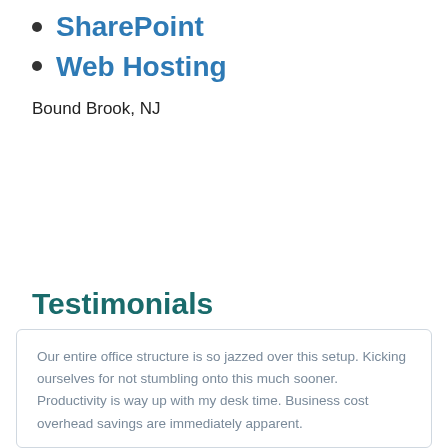SharePoint
Web Hosting
Bound Brook, NJ
Testimonials
Our entire office structure is so jazzed over this setup. Kicking ourselves for not stumbling onto this much sooner. Productivity is way up with my desk time. Business cost overhead savings are immediately apparent.